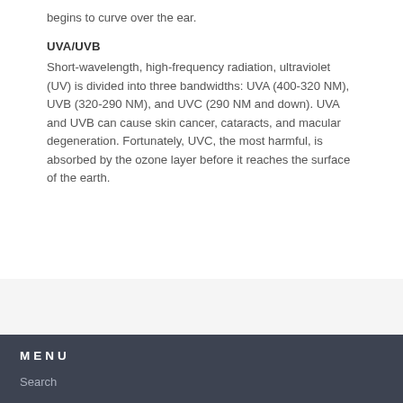begins to curve over the ear.
UVA/UVB
Short-wavelength, high-frequency radiation, ultraviolet (UV) is divided into three bandwidths: UVA (400-320 NM), UVB (320-290 NM), and UVC (290 NM and down). UVA and UVB can cause skin cancer, cataracts, and macular degeneration. Fortunately, UVC, the most harmful, is absorbed by the ozone layer before it reaches the surface of the earth.
MENU
Search